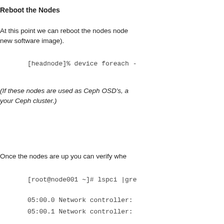Reboot the Nodes
At this point we can reboot the nodes node (boot the new software image).
[headnode]% device foreach -
(If these nodes are used as Ceph OSD's, a your Ceph cluster.)
Once the nodes are up you can verify whe
[root@node001 ~]# lspci |gre
05:00.0 Network controller:
05:00.1 Network controller:
05:00.2 Network controller:
05:00.3 Network controller: